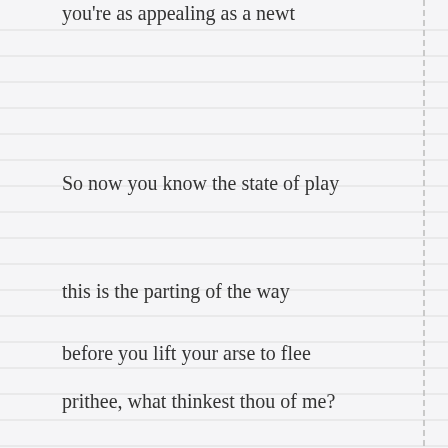you're as appealing as a newt
So now you know the state of play
this is the parting of the way
before you lift your arse to flee
prithee, what thinkest thou of me?
copyright Mike Hopkins 2012